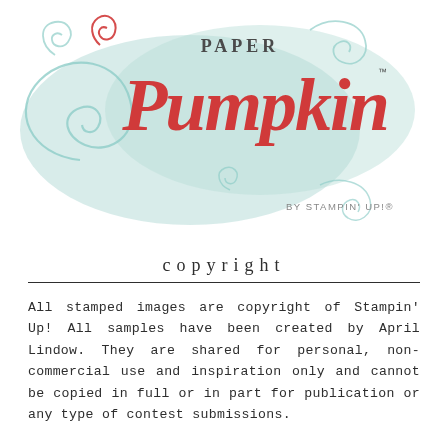[Figure (logo): Paper Pumpkin by Stampin' Up! logo. Features decorative red hand-lettered text reading 'Paper Pumpkin' with a trademark symbol, set on a light mint/teal swirled decorative background shape. Below reads 'BY STAMPIN' UP!' in small gray caps.]
copyright
All stamped images are copyright of Stampin' Up! All samples have been created by April Lindow. They are shared for personal, non-commercial use and inspiration only and cannot be copied in full or in part for publication or any type of contest submissions.